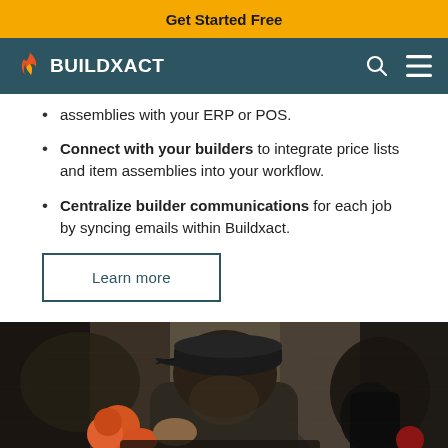Get Started Free
BUILDXACT
assemblies with your ERP or POS.
Connect with your builders to integrate price lists and item assemblies into your workflow.
Centralize builder communications for each job by syncing emails within Buildxact.
Learn more
[Figure (photo): Person working, viewed from behind, with dark cap, working on construction or trade task with orange equipment visible]